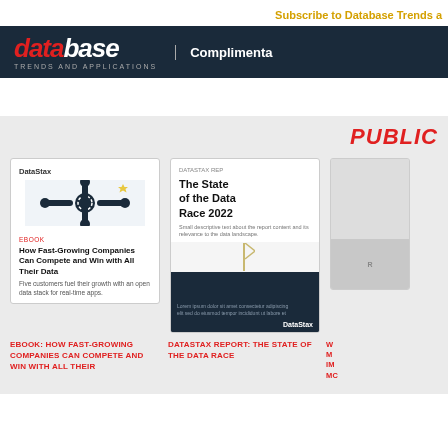Subscribe to Database Trends a
[Figure (logo): Database Trends and Applications logo with 'Complimentary' text on dark navy banner]
PUBLIC
[Figure (illustration): DataStax ebook cover: How Fast-Growing Companies Can Compete and Win with All Their Data. Five customers fuel their growth with an open data stack for real-time apps.]
[Figure (illustration): DataStax Report cover: The State of the Data Race 2022 with dark navy bottom half]
EBOOK: HOW FAST-GROWING COMPANIES CAN COMPETE AND WIN WITH ALL THEIR
DATASTAX REPORT: THE STATE OF THE DATA RACE